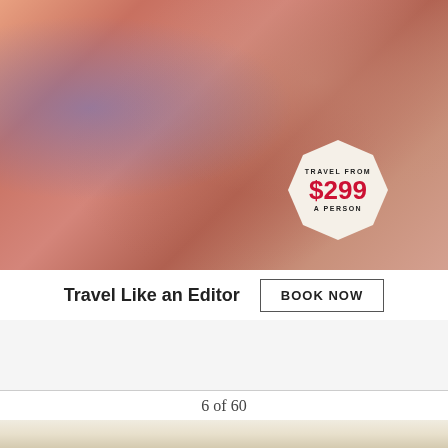[Figure (photo): Advertisement photo showing three women socializing with cocktails, overlaid with a badge reading 'TRAVEL FROM $299 A PERSON']
Travel Like an Editor
BOOK NOW
6 of 60
[Figure (photo): Bottom portion of a product photo showing what appears to be food items on a light background]